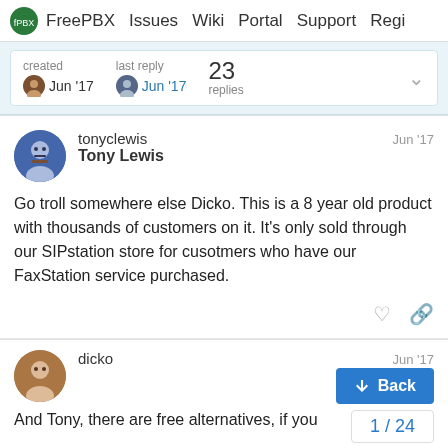FreePBX  Issues  Wiki  Portal  Support  Regi
created Jun '17   last reply Jun '17   23 replies
tonyclewis Tony Lewis Jun '17

Go troll somewhere else Dicko. This is a 8 year old product with thousands of customers on it. It's only sold through our SIPstation store for cusotmers who have our FaxStation service purchased.
dicko Jun '17

And Tony, there are free alternatives, if you
Back
1 / 24